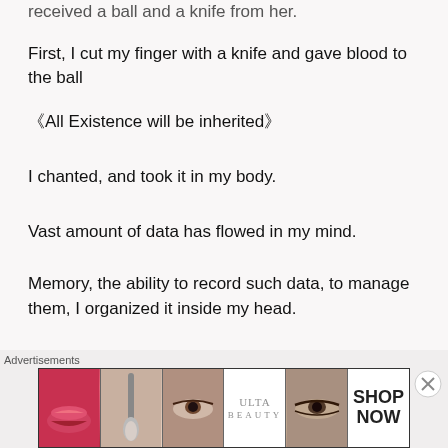received a ball and a knife from her.
First, I cut my finger with a knife and gave blood to the ball
《All Existence will be inherited》
I chanted, and took it in my body.
Vast amount of data has flowed in my mind.
Memory, the ability to record such data, to manage them, I organized it inside my head.
「Good job」
She said.
[Figure (other): Ulta Beauty advertisement banner with cosmetics imagery and SHOP NOW text]